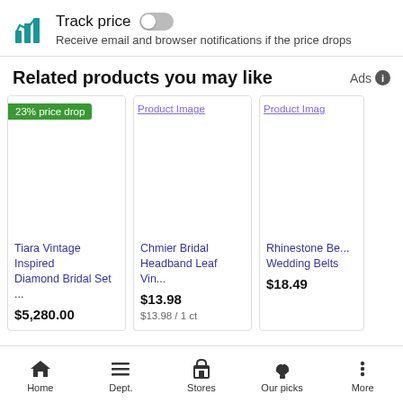[Figure (screenshot): Track price toggle UI with teal bar chart icon, toggle switch in off position, and subtitle text]
Track price
Receive email and browser notifications if the price drops
Related products you may like
Ads ℹ
[Figure (photo): Product image placeholder for Tiara Vintage Inspired Diamond Bridal Set with 23% price drop badge]
Tiara Vintage Inspired Diamond Bridal Set ...
$5,280.00
[Figure (photo): Product image placeholder for Chmier Bridal Headband Leaf Vin...]
Chmier Bridal Headband Leaf Vin...
$13.98
$13.98 / 1 ct
[Figure (photo): Product image placeholder for Rhinestone Be... Wedding Belts]
Rhinestone Be... Wedding Belts
$18.49
Home  Dept.  Stores  Our picks  More